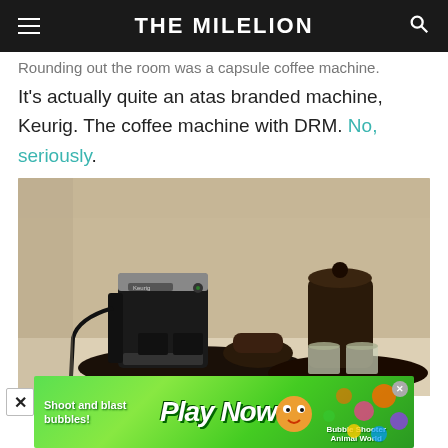THE MILELION
Rounding out the room was a capsule coffee machine.
It's actually quite an atas branded machine, Keurig. The coffee machine with DRM. No, seriously.
[Figure (photo): A Keurig capsule coffee machine on a dark tray on a shelf, with cups and coffee pods beside it, and a dark canister with glasses on another tray to the right.]
[Figure (other): Advertisement banner: 'Shoot and blast bubbles! Play Now - Bubble Shooter Animal World']